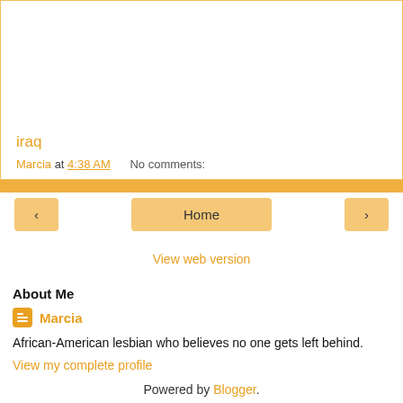iraq
Marcia at 4:38 AM   No comments:
[Figure (screenshot): Navigation bar with left arrow, Home button, and right arrow buttons in orange/tan color]
View web version
About Me
Marcia
African-American lesbian who believes no one gets left behind.
View my complete profile
Powered by Blogger.